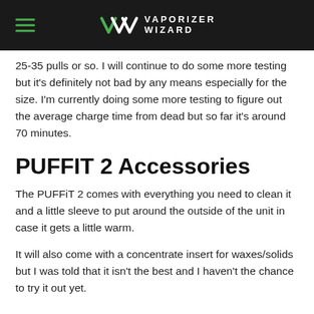Vaporizer Wizard
25-35 pulls or so. I will continue to do some more testing but it's definitely not bad by any means especially for the size. I'm currently doing some more testing to figure out the average charge time from dead but so far it's around 70 minutes.
PUFFIT 2 Accessories
The PUFFiT 2 comes with everything you need to clean it and a little sleeve to put around the outside of the unit in case it gets a little warm.
It will also come with a concentrate insert for waxes/solids but I was told that it isn't the best and I haven't the chance to try it out yet.